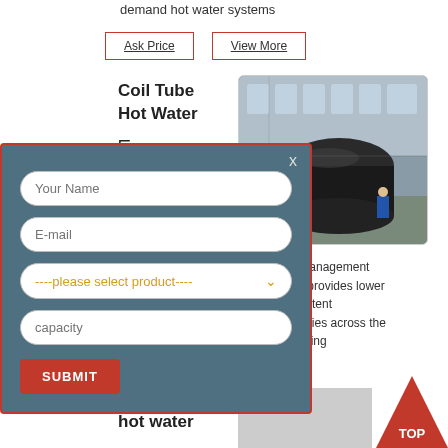demand hot water systems
Ask Price   View More
Coil Tube Hot Water
[Figure (photo): Industrial coil tube hot water boiler in a factory setting, large dark cylindrical vessel with workers visible]
urner management control provides lower e consistent efficiencies across the modulating
Ask Price   View More
Fire-tube hot water
[Figure (infographic): Modal contact form with fields for name, email, product selection dropdown, capacity, and a Submit button. Has an X close button in top right.]